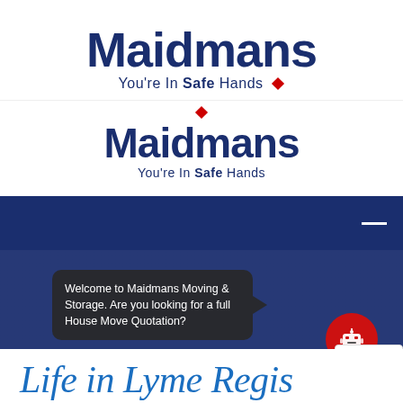[Figure (logo): Maidmans logo (large, dark blue) with red diamond and tagline 'You're In Safe Hands', repeated twice in different sizes]
[Figure (screenshot): Dark blue navigation bar with hamburger menu icon on right]
[Figure (photo): Dark blue hero image of moving truck/van]
Welcome to Maidmans Moving & Storage. Are you looking for a full House Move Quotation?
Life in Lyme Regis